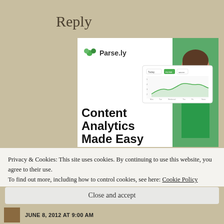Reply
[Figure (advertisement): Parse.ly advertisement showing 'Content Analytics Made Easy' with a woman in a green sweater and a dashboard screenshot]
Privacy & Cookies: This site uses cookies. By continuing to use this website, you agree to their use.
To find out more, including how to control cookies, see here: Cookie Policy
Close and accept
JUNE 8, 2012 AT 9:00 AM